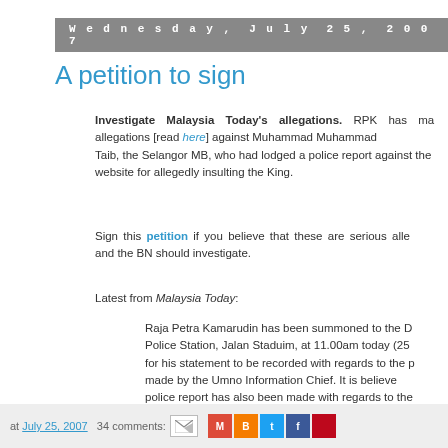Wednesday, July 25, 2007
A petition to sign
Investigate Malaysia Today's allegations. RPK has made allegations [read here] against Muhammad Muhammad Taib, the Selangor MB, who had lodged a police report against the website for allegedly insulting the King.
Sign this petition if you believe that these are serious allegations and the BN should investigate.
Latest from Malaysia Today:
Raja Petra Kamarudin has been summoned to the Dang Wangi Police Station, Jalan Staduim, at 11.00am today (25 July 2007) for his statement to be recorded with regards to the police report made by the Umno Information Chief. It is believed that a police report has also been made with regards to the article Raja Petra wrote called 'See you in hell Muhamad son of M
at July 25, 2007  34 comments: